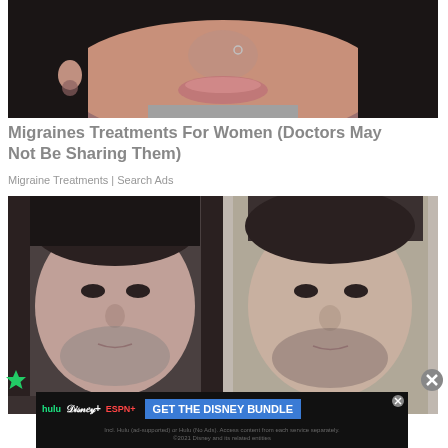[Figure (photo): Close-up photo of a woman's face showing nose ring/piercing, dark hair, and gray top, cropped to show lower half of face]
Migraines Treatments For Women (Doctors May Not Be Sharing Them)
Migraine Treatments | Search Ads
[Figure (photo): Two side-by-side photos of a man (appears to be a celebrity), left photo in darker/event setting, right photo in lighter indoor setting]
[Figure (screenshot): Advertisement banner for Disney Bundle featuring Hulu, Disney+, and ESPN+ logos with 'GET THE DISNEY BUNDLE' call to action button and small print about service access]